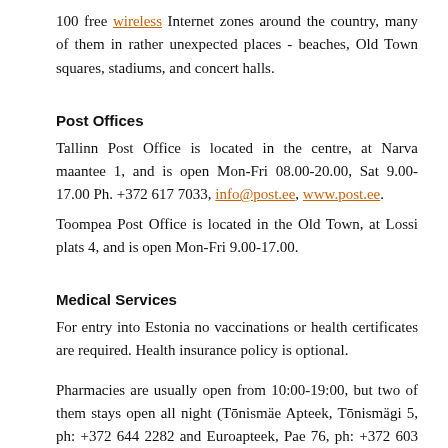100 free wireless Internet zones around the country, many of them in rather unexpected places - beaches, Old Town squares, stadiums, and concert halls.
Post Offices
Tallinn Post Office is located in the centre, at Narva maantee 1, and is open Mon-Fri 08.00-20.00, Sat 9.00-17.00 Ph. +372 617 7033, info@post.ee, www.post.ee.
Toompea Post Office is located in the Old Town, at Lossi plats 4, and is open Mon-Fri 9.00-17.00.
Medical Services
For entry into Estonia no vaccinations or health certificates are required. Health insurance policy is optional.
Pharmacies are usually open from 10:00-19:00, but two of them stays open all night (Tōnismäe Apteek, Tōnismägi 5, ph: +372 644 2282 and Euroapteek, Pae 76, ph: +372 603 1423).